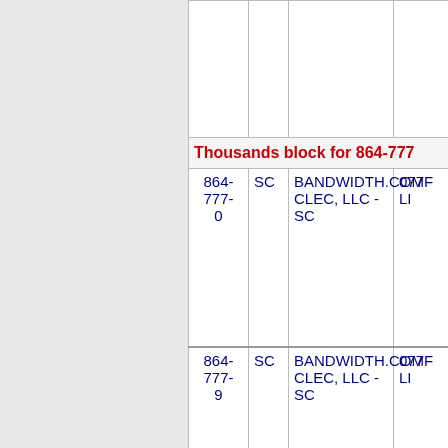|  |  | Thousands block for 864-777 |  |  |
| --- | --- | --- | --- | --- |
| 864-777-0 | SC | BANDWIDTH.COM CLEC, LLC - SC | 077F | LL |
| 864-777-9 | SC | BANDWIDTH.COM CLEC, LLC - SC | 077F | LL |